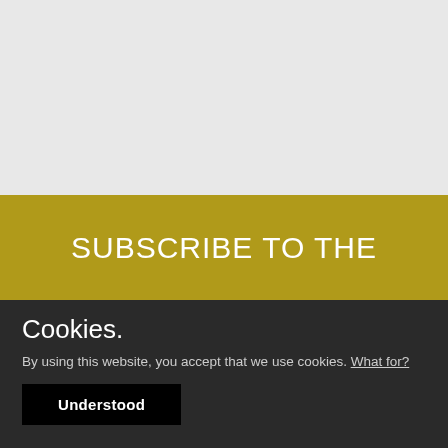[Figure (other): Light gray background section occupying the top portion of the page]
SUBSCRIBE TO THE
Cookies.
By using this website, you accept that we use cookies. What for?
Understood